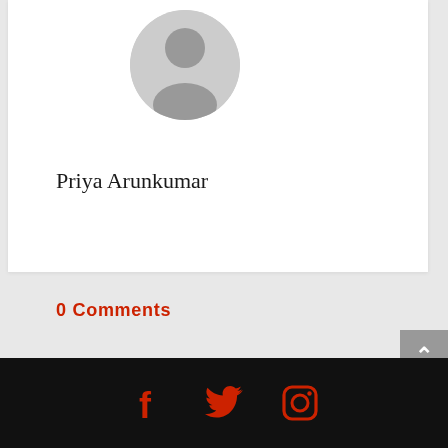[Figure (illustration): Gray circular avatar placeholder icon showing silhouette of a person]
Priya Arunkumar
0 Comments
Submit a Comment
You must be logged in to post a comment.
[Figure (other): Social media icons: Facebook, Twitter, Instagram in red on black footer bar]